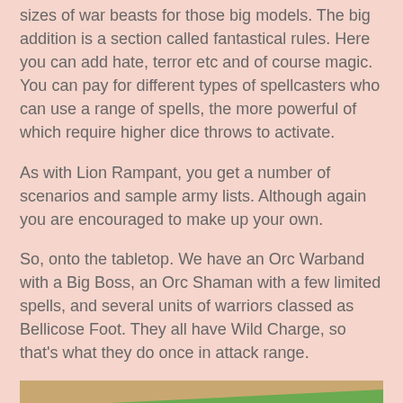sizes of war beasts for those big models. The big addition is a section called fantastical rules. Here you can add hate, terror etc and of course magic. You can pay for different types of spellcasters who can use a range of spells, the more powerful of which require higher dice throws to activate.
As with Lion Rampant, you get a number of scenarios and sample army lists. Although again you are encouraged to make up your own.
So, onto the tabletop. We have an Orc Warband with a Big Boss, an Orc Shaman with a few limited spells, and several units of warriors classed as Bellicose Foot. They all have Wild Charge, so that's what they do once in attack range.
[Figure (photo): Overhead angled view of a wargaming tabletop with green mat, miniature trees, a small building/house model, and small wargaming figures arranged on the table surface.]